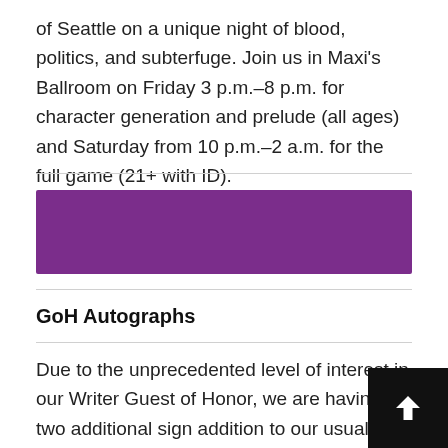of Seattle on a unique night of blood, politics, and subterfuge. Join us in Maxi's Ballroom on Friday 3 p.m.–8 p.m. for character generation and prelude (all ages) and Saturday from 10 p.m.–2 a.m. for the full game (21+ with ID).
[Figure (other): Purple decorative banner bar]
GoH Autographs
Due to the unprecedented level of interest in our Writer Guest of Honor, we are having two additional sign… addition to our usual Saturday afternoon GoH autograph